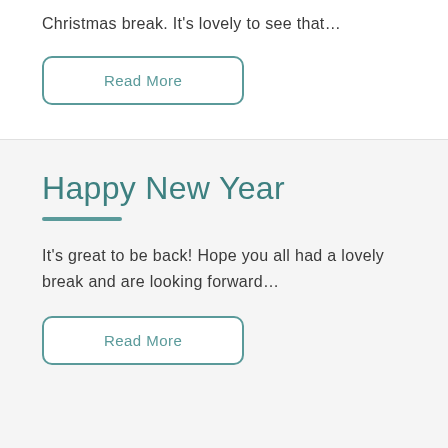Christmas break. It’s lovely to see that…
Read More
Happy New Year
It’s great to be back! Hope you all had a lovely break and are looking forward…
Read More